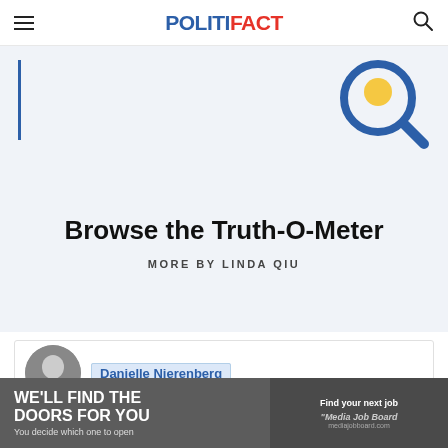POLITIFACT
[Figure (illustration): Light blue banner area with a blue vertical bar on the left and a magnifying glass icon with yellow circle on the right, PolitiFact search illustration]
Browse the Truth-O-Meter
MORE BY LINDA QIU
[Figure (photo): Circular portrait photo of Danielle Nierenberg with name label in blue box]
[Figure (infographic): Advertisement banner: WE'LL FIND THE DOORS FOR YOU - You decide which one to open / Find your next job - Media Job Board]